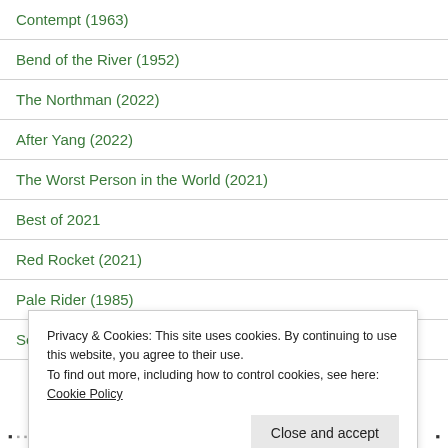Contempt (1963)
Bend of the River (1952)
The Northman (2022)
After Yang (2022)
The Worst Person in the World (2021)
Best of 2021
Red Rocket (2021)
Pale Rider (1985)
Seven Men from Now (1956)
Privacy & Cookies: This site uses cookies. By continuing to use this website, you agree to their use.
To find out more, including how to control cookies, see here: Cookie Policy
Close and accept